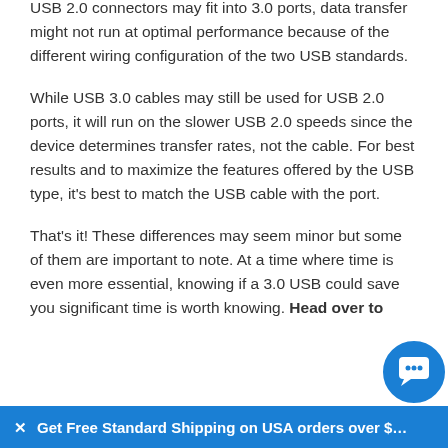USB 2.0 connectors may fit into 3.0 ports, data transfer might not run at optimal performance because of the different wiring configuration of the two USB standards.
While USB 3.0 cables may still be used for USB 2.0 ports, it will run on the slower USB 2.0 speeds since the device determines transfer rates, not the cable. For best results and to maximize the features offered by the USB type, it's best to match the USB cable with the port.
That's it! These differences may seem minor but some of them are important to note. At a time where time is even more essential, knowing if a 3.0 USB could save you significant time is worth knowing. Head over to
× Get Free Standard Shipping on USA orders over $…